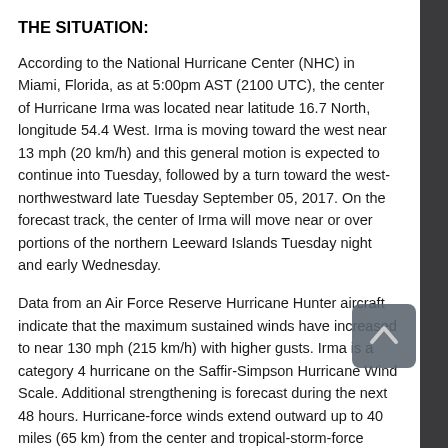THE SITUATION:
According to the National Hurricane Center (NHC) in Miami, Florida, as at 5:00pm AST (2100 UTC), the center of Hurricane Irma was located near latitude 16.7 North, longitude 54.4 West. Irma is moving toward the west near 13 mph (20 km/h) and this general motion is expected to continue into Tuesday, followed by a turn toward the west-northwestward late Tuesday September 05, 2017. On the forecast track, the center of Irma will move near or over portions of the northern Leeward Islands Tuesday night and early Wednesday.
Data from an Air Force Reserve Hurricane Hunter aircraft indicate that the maximum sustained winds have increased to near 130 mph (215 km/h) with higher gusts. Irma is a category 4 hurricane on the Saffir-Simpson Hurricane Wind Scale. Additional strengthening is forecast during the next 48 hours. Hurricane-force winds extend outward up to 40 miles (65 km) from the center and tropical-storm-force winds extend outward up to 140 miles (220 km). The latest minimum central pressure reported by